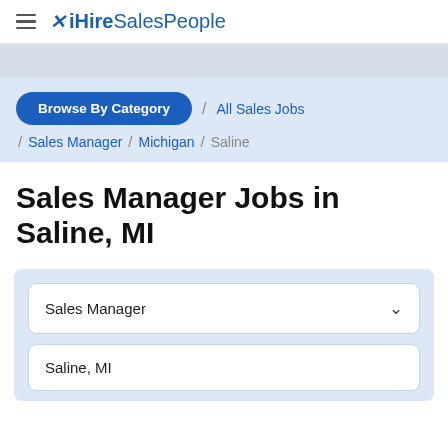iHireSalesPeople
Browse By Category / All Sales Jobs / Sales Manager / Michigan / Saline
Sales Manager Jobs in Saline, MI
Sales Manager
Saline, MI